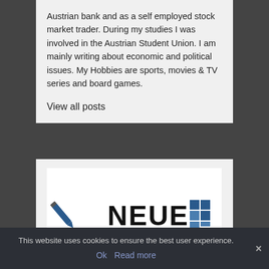Austrian bank and as a self employed stock market trader. During my studies I was involved in the Austrian Student Union. I am mainly writing about economic and political issues. My Hobbies are sports, movies & TV series and board games.
View all posts
[Figure (logo): NEUE logo with a pen/pencil icon on the left and blue grid squares on the right]
This website uses cookies to ensure the best user experience.
Ok  Read more